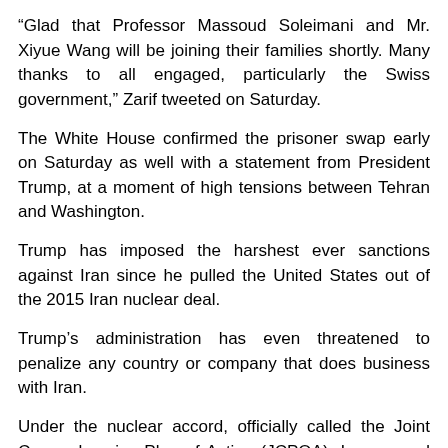“Glad that Professor Massoud Soleimani and Mr. Xiyue Wang will be joining their families shortly. Many thanks to all engaged, particularly the Swiss government,” Zarif tweeted on Saturday.
The White House confirmed the prisoner swap early on Saturday as well with a statement from President Trump, at a moment of high tensions between Tehran and Washington.
Trump has imposed the harshest ever sanctions against Iran since he pulled the United States out of the 2015 Iran nuclear deal.
Trump’s administration has even threatened to penalize any country or company that does business with Iran.
Under the nuclear accord, officially called the Joint Comprehensive Plan of Action (JCPOA), Iran agreed to put limits on its nuclear activities in exchange for termination of economic and financial sanctions.
In a tweet on Saturday, Trump thanked Iran “on a very fair negotiation”